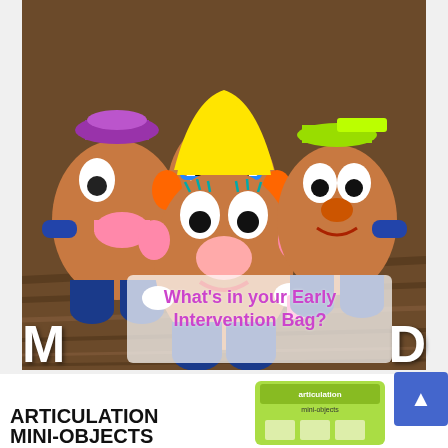[Figure (photo): Multiple Mr. Potato Head toy figures arranged on a wooden surface, photographed close-up. Center figure has yellow hair styled like a woman (Mrs. Potato Head) with teal eyelashes and pink lips.]
What's in your Early Intervention Bag?
[Figure (photo): Partial bottom section showing 'ARTICULATION MINI-OBJECTS' text in bold black on white background, with a green package of articulation mini-objects visible on the right side.]